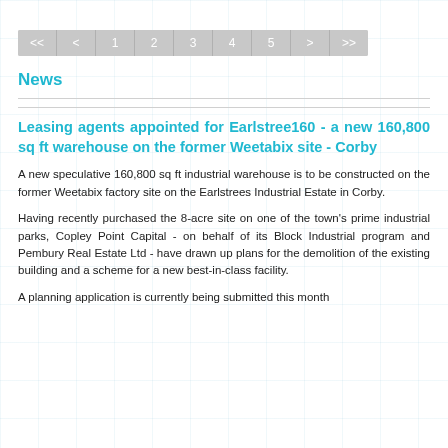[Figure (other): Pagination navigation bar with buttons: <<, <, 1, 2, 3, 4, 5, >, >>]
News
Leasing agents appointed for Earlstree160 - a new 160,800 sq ft warehouse on the former Weetabix site - Corby
A new speculative 160,800 sq ft industrial warehouse is to be constructed on the former Weetabix factory site on the Earlstrees Industrial Estate in Corby.
Having recently purchased the 8-acre site on one of the town's prime industrial parks, Copley Point Capital - on behalf of its Block Industrial program and Pembury Real Estate Ltd - have drawn up plans for the demolition of the existing building and a scheme for a new best-in-class facility.
A planning application is currently being submitted this month...